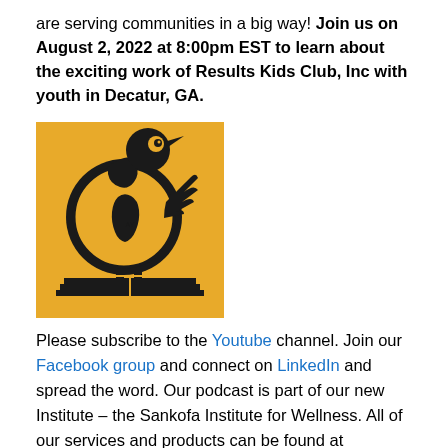are serving communities in a big way! Join us on August 2, 2022 at 8:00pm EST to learn about the exciting work of Results Kids Club, Inc with youth in Decatur, GA.
[Figure (logo): Sankofa bird logo on golden/yellow background — black stylized bird with Africa globe body standing on an open book, looking backwards with hand-like wing extended]
Please subscribe to the Youtube channel. Join our Facebook group and connect on LinkedIn and spread the word. Our podcast is part of our new Institute – the Sankofa Institute for Wellness. All of our services and products can be found at TotalWellnessConsulting.com